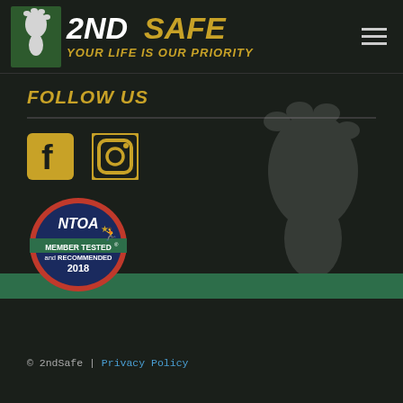[Figure (logo): 2ndSafe logo with footprint icon and tagline YOUR LIFE IS OUR PRIORITY in gold text on dark background]
FOLLOW US
[Figure (illustration): Facebook icon (gold square with f) and Instagram icon (gold circle with camera)]
[Figure (illustration): NTOA Member Tested and Recommended 2018 badge/seal with dark blue and red colors]
© 2ndSafe | Privacy Policy